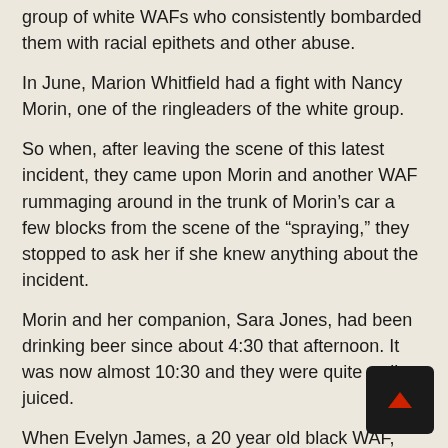group of white WAFs who consistently bombarded them with racial epithets and other abuse.
In June, Marion Whitfield had a fight with Nancy Morin, one of the ringleaders of the white group.
So when, after leaving the scene of this latest incident, they came upon Morin and another WAF rummaging around in the trunk of Morin’s car a few blocks from the scene of the “spraying,” they stopped to ask her if she knew anything about the incident.
Morin and her companion, Sara Jones, had been drinking beer since about 4:30 that afternoon. It was now almost 10:30 and they were quite well juiced.
When Evelyn James, a 20 year old black WAF, and friend of Whitfield, went up to the car to ask Morin about the spraying of Whitfield’s car, Morin said, “I don’t have to tell nothing to no nigger.”
Repeated inquiries led to nothing but further abuse the four blacks turned to leave. Morin then charged